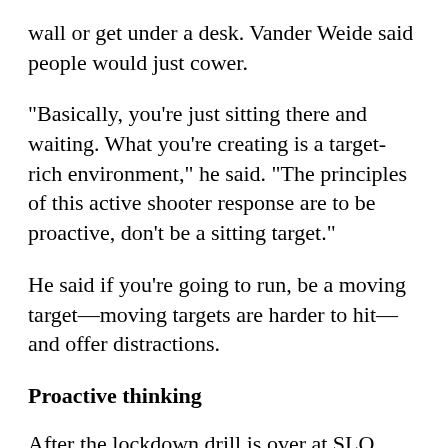wall or get under a desk. Vander Weide said people would just cower.
"Basically, you're just sitting there and waiting. What you're creating is a target-rich environment," he said. "The principles of this active shooter response are to be proactive, don't be a sitting target."
He said if you're going to run, be a moving target—moving targets are harder to hit—and offer distractions.
Proactive thinking
After the lockdown drill is over at SLO High School, students resume their normal classwork. Jim Johnson's AP government and politics class went right back into the